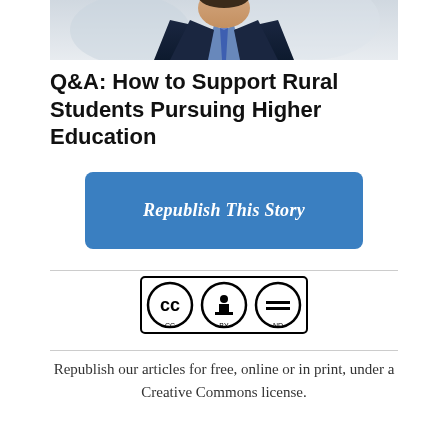[Figure (photo): Cropped photo of a man in a navy suit with a blue checked shirt, shown from chest up, on a blurred light background]
Q&A: How to Support Rural Students Pursuing Higher Education
Republish This Story
[Figure (logo): Creative Commons CC BY-ND license badge]
Republish our articles for free, online or in print, under a Creative Commons license.